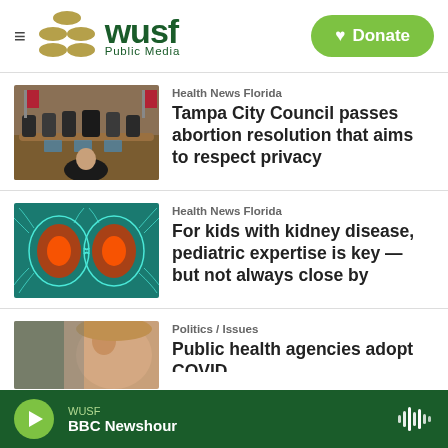[Figure (logo): WUSF Public Media logo with gold oval shapes and green text, plus hamburger menu icon]
[Figure (other): Donate button with heart icon on green rounded rectangle background]
[Figure (photo): Tampa City Council chamber with people seated at curved dais, American flags in background]
Health News Florida
Tampa City Council passes abortion resolution that aims to respect privacy
[Figure (illustration): Medical illustration of kidneys with glowing orange and white lines on teal background]
Health News Florida
For kids with kidney disease, pediatric expertise is key — but not always close by
[Figure (photo): Partial photo of a person's face partially visible]
Politics / Issues
Public health agencies adopt COVID...
WUSF  BBC Newshour